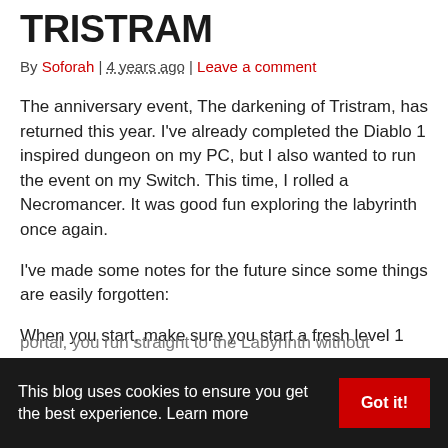TRISTRAM
By Soforah | 4 years ago | Leave a comment
The anniversary event, The darkening of Tristram, has returned this year. I've already completed the Diablo 1 inspired dungeon on my PC, but I also wanted to run the event on my Switch. This time, I rolled a Necromancer. It was good fun exploring the labyrinth once again.
I've made some notes for the future since some things are easily forgotten:
When you start, make sure you start a fresh level 1
This blog uses cookies to ensure you get the best experience. Learn more
portal, you run straight to the Labyrinth without